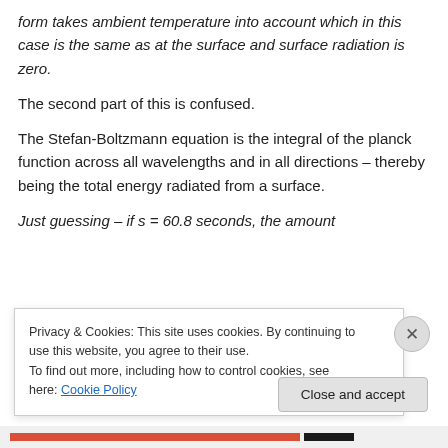form takes ambient temperature into account which in this case is the same as at the surface and surface radiation is zero.
The second part of this is confused.
The Stefan-Boltzmann equation is the integral of the planck function across all wavelengths and in all directions – thereby being the total energy radiated from a surface.
Just guessing – if s = 60.8 seconds, the amount of...